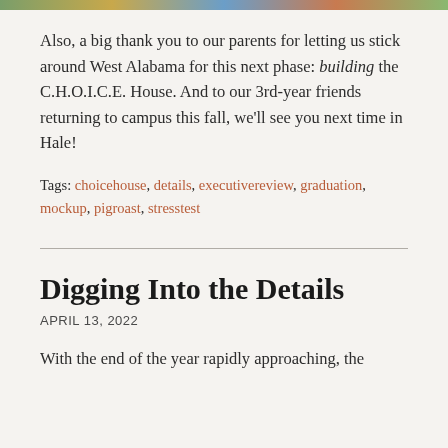[Figure (photo): Colorful photo strip at top of page showing outdoor scenes]
Also, a big thank you to our parents for letting us stick around West Alabama for this next phase: building the C.H.O.I.C.E. House. And to our 3rd-year friends returning to campus this fall, we'll see you next time in Hale!
Tags: choicehouse, details, executivereview, graduation, mockup, pigroast, stresstest
Digging Into the Details
APRIL 13, 2022
With the end of the year rapidly approaching, the